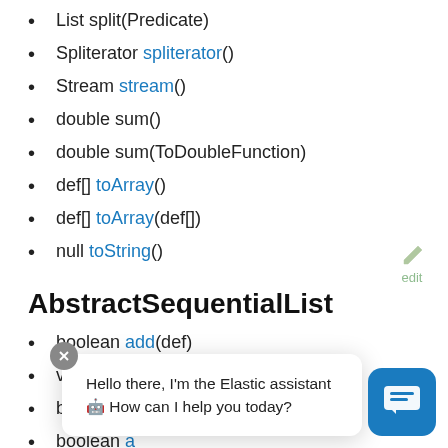List split(Predicate)
Spliterator spliterator()
Stream stream()
double sum()
double sum(ToDoubleFunction)
def[] toArray()
def[] toArray(def[])
null toString()
AbstractSequentialList
boolean add(def)
void add(int, def)
boolean a...
boolean a...
boolean a...
Hello there, I'm the Elastic assistant 🤖 How can I help you today?